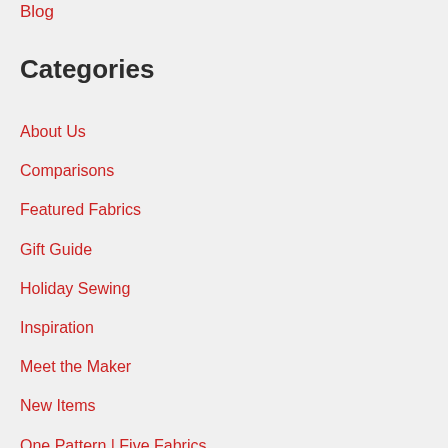Blog
Categories
About Us
Comparisons
Featured Fabrics
Gift Guide
Holiday Sewing
Inspiration
Meet the Maker
New Items
One Pattern | Five Fabrics
Our Projects
Specials & Giveaways